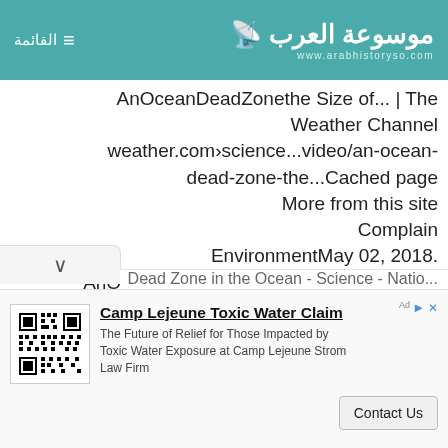القائمة ☰  |  موسوعة العرب  www.arabhistoryso.com
AnOceanDeadZonethe Size of... | The Weather Channel weather.com›science...video/an-ocean-dead-zone-the...Cached page More from this site Complain EnvironmentMay 02, 2018. AnOceanDeadZonethe Size of Florida....A disturbing findintheArabian Sea — a hugedeadzonethe size of Florida. More .Videos. Up Next 8
Dead Zone in the Ocean - Science - Natio...
Camp Lejeune Toxic Water Claim – The Future of Relief for Those Impacted by Toxic Water Exposure at Camp Lejeune Strom Law Firm – Contact Us